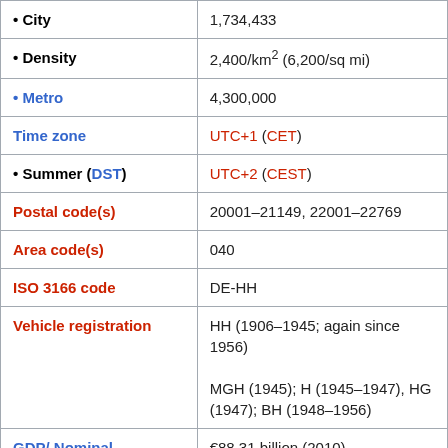| Property | Value |
| --- | --- |
| • City | 1,734,433 |
| • Density | 2,400/km² (6,200/sq mi) |
| • Metro | 4,300,000 |
| Time zone | UTC+1 (CET) |
| • Summer (DST) | UTC+2 (CEST) |
| Postal code(s) | 20001–21149, 22001–22769 |
| Area code(s) | 040 |
| ISO 3166 code | DE-HH |
| Vehicle registration | HH (1906–1945; again since 1956)
MGH (1945); H (1945–1947), HG (1947); BH (1948–1956) |
| GDP/ Nominal | €88.31 billion (2010) |